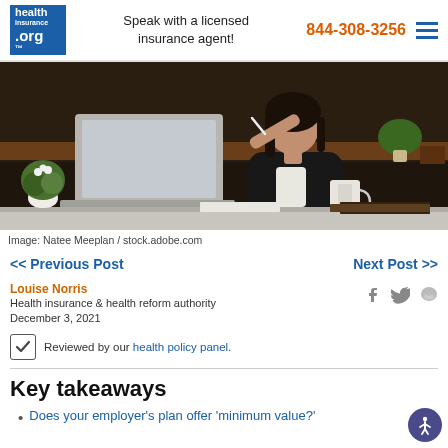health insurance .org — Speak with a licensed insurance agent! 844-308-3256
[Figure (photo): Woman in business attire sitting at a desk with a laptop, coffee mug, plant, and books, thinking with a pen near her face.]
Image: Natee Meeplan / stock.adobe.com
<< Previous Post
Next Post >>
Louise Norris
Health insurance & health reform authority
December 3, 2021
Reviewed by our health policy panel.
Key takeaways
Does your employer's plan offer 'minimum value?'